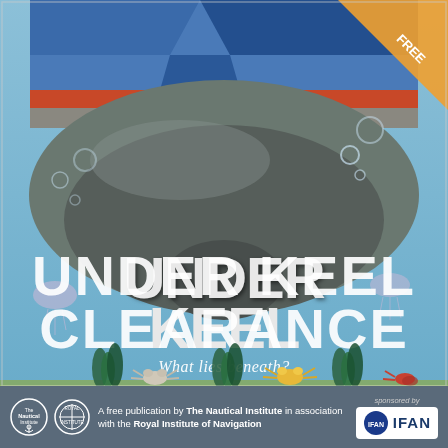[Figure (illustration): Book cover illustration showing the underwater hull of a large ship viewed from below, set against a light blue underwater scene. The ship hull is dark brown/grey with a red waterline stripe and blue upper hull. Text reads UNDER KEEL CLEARANCE and What lies beneath? Underwater sea creatures including crabs and jellyfish are visible. A corner ribbon tag reads FREE in orange.]
A free publication by The Nautical Institute in association with the Royal Institute of Navigation. Sponsored by IFAN.